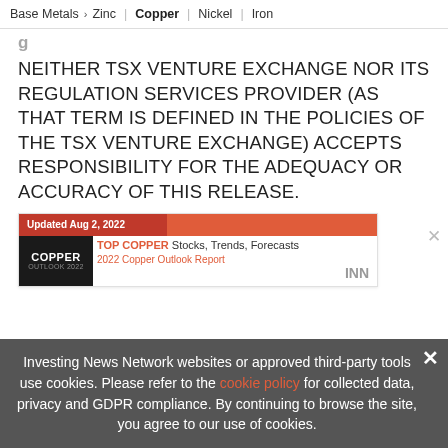Base Metals > Zinc | Copper | Nickel | Iron
NEITHER TSX VENTURE EXCHANGE NOR ITS REGULATION SERVICES PROVIDER (AS THAT TERM IS DEFINED IN THE POLICIES OF THE TSX VENTURE EXCHANGE) ACCEPTS RESPONSIBILITY FOR THE ADEQUACY OR ACCURACY OF THIS RELEASE.
[Figure (other): Advertisement banner: Updated Aug 2, 2022. TOP COPPER Stocks, Trends, Forecasts. 2022 Copper Outlook Report. INN logo.]
Investing News Network websites or approved third-party tools use cookies. Please refer to the cookie policy for collected data, privacy and GDPR compliance. By continuing to browse the site, you agree to our use of cookies.